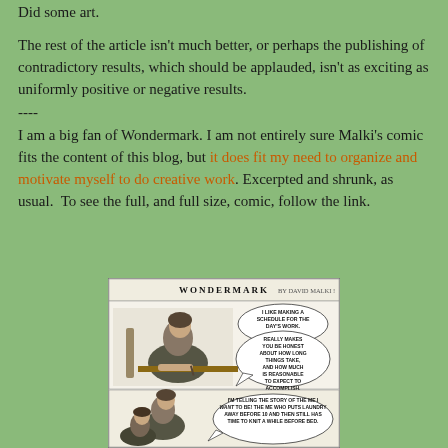Did some art.
The rest of the article isn't much better, or perhaps the publishing of contradictory results, which should be applauded, isn't as exciting as uniformly positive or negative results.
----
I am a big fan of Wondermark. I am not entirely sure Malki's comic fits the content of this blog, but it does fit my need to organize and motivate myself to do creative work. Excerpted and shrunk, as usual.  To see the full, and full size, comic, follow the link.
[Figure (illustration): Wondermark comic strip by David Malki showing a Victorian woman sitting at a desk writing. Speech bubbles read: 'I LIKE MAKING A SCHEDULE FOR THE DAY'S WORK.' and 'REALLY MAKES YOU BE HONEST ABOUT HOW LONG THINGS TAKE, AND HOW MUCH IS REASONABLE TO EXPECT TO ACCOMPLISH.' Second panel shows same woman with text: 'I'M TELLING THE STORY OF THE ME I WANT TO BE! THE ME WHO PUTS LAUNDRY AWAY BEFORE 10 AND THEN STILL HAS TIME TO KNIT A WHILE BEFORE BED.']